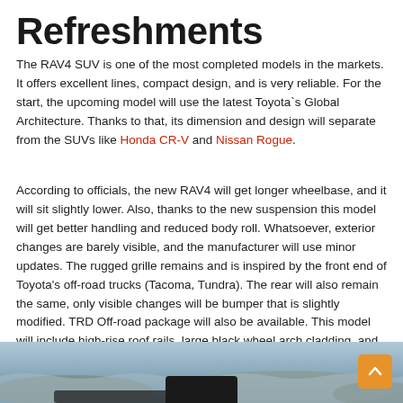Refreshments
The RAV4 SUV is one of the most completed models in the markets. It offers excellent lines, compact design, and is very reliable. For the start, the upcoming model will use the latest Toyota`s Global Architecture. Thanks to that, its dimension and design will separate from the SUVs like Honda CR-V and Nissan Rogue.
According to officials, the new RAV4 will get longer wheelbase, and it will sit slightly lower. Also, thanks to the new suspension this model will get better handling and reduced body roll. Whatsoever, exterior changes are barely visible, and the manufacturer will use minor updates. The rugged grille remains and is inspired by the front end of Toyota’s off-road trucks (Tacoma, Tundra). The rear will also remain the same, only visible changes will be bumper that is slightly modified. TRD Off-road package will also be available. This model will include high-rise roof rails, large black wheel arch cladding, and more aggressive grille and fascia treatments.
[Figure (photo): A partial view of a vehicle near a rocky coastal shoreline, with ocean waves and vegetation visible in the background.]